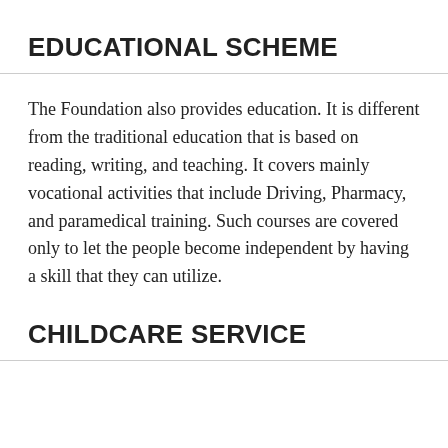EDUCATIONAL SCHEME
The Foundation also provides education. It is different from the traditional education that is based on reading, writing, and teaching. It covers mainly vocational activities that include Driving, Pharmacy, and paramedical training. Such courses are covered only to let the people become independent by having a skill that they can utilize.
CHILDCARE SERVICE